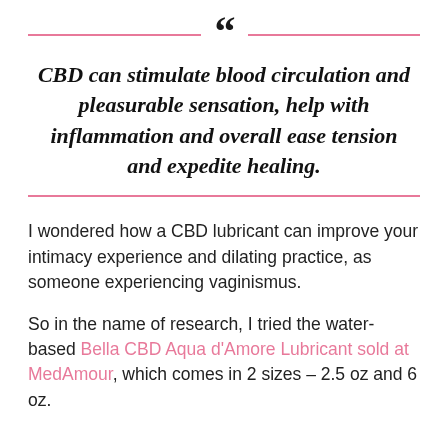CBD can stimulate blood circulation and pleasurable sensation, help with inflammation and overall ease tension and expedite healing.
I wondered how a CBD lubricant can improve your intimacy experience and dilating practice, as someone experiencing vaginismus.
So in the name of research, I tried the water-based Bella CBD Aqua d'Amore Lubricant sold at MedAmour, which comes in 2 sizes – 2.5 oz and 6 oz.